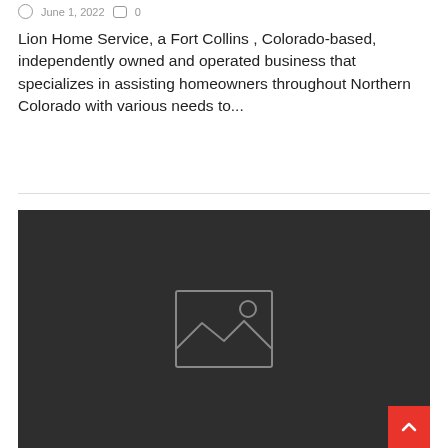June 1, 2022   0
Lion Home Service, a Fort Collins , Colorado-based, independently owned and operated business that specializes in assisting homeowners throughout Northern Colorado with various needs to...
[Figure (illustration): Dark gray placeholder image with a landscape/mountain icon in the center, indicating a missing or loading image. A red scroll-to-top button appears in the bottom right corner.]